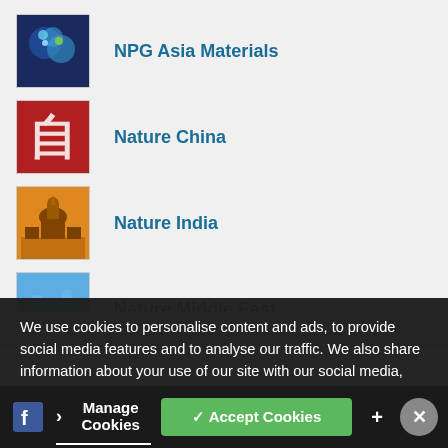NPG Asia Materials
Nature China
Nature India
Nature Middle East
Hot Topics
Research Highlights
Nature Blogs
We use cookies to personalise content and ads, to provide social media features and to analyse our traffic. We also share information about your use of our site with our social media, advertising and analytics partners in accordance with our Privacy Policy. You can manage your preferences in 'Manage Cookies'.
Manage Cookies
✓ Accept Cookies